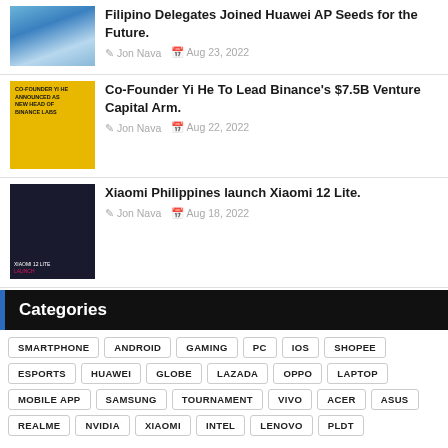Filipino Delegates Joined Huawei AP Seeds for the Future. — Jon Nava, Aug 23, 2022
Co-Founder Yi He To Lead Binance's $7.5B Venture Capital Arm. — Jon Nava, Aug 22, 2022
Xiaomi Philippines launch Xiaomi 12 Lite. — Jon Nava, Aug 18, 2022
Categories
SMARTPHONE
ANDROID
GAMING
PC
IOS
SHOPEE
ESPORTS
HUAWEI
GLOBE
LAZADA
OPPO
LAPTOP
MOBILE APP
SAMSUNG
TOURNAMENT
VIVO
ACER
ASUS
REALME
NVIDIA
XIAOMI
INTEL
LENOVO
PLDT